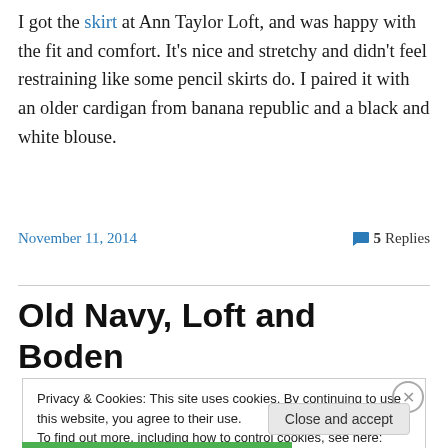I got the skirt at Ann Taylor Loft, and was happy with the fit and comfort. It's nice and stretchy and didn't feel restraining like some pencil skirts do. I paired it with an older cardigan from banana republic and a black and white blouse.
November 11, 2014    5 Replies
Old Navy, Loft and Boden
Privacy & Cookies: This site uses cookies. By continuing to use this website, you agree to their use.
To find out more, including how to control cookies, see here: Cookie Policy